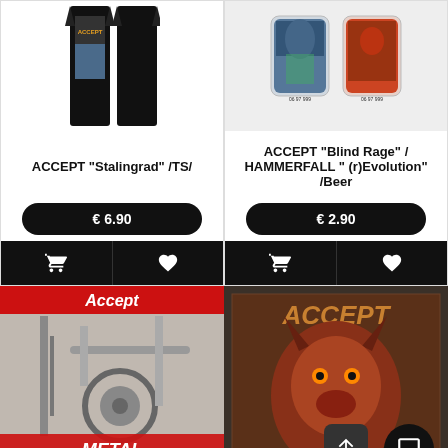[Figure (photo): ACCEPT Stalingrad black t-shirt product image showing front and back]
ACCEPT "Stalingrad" /TS/
€ 6.90
[Figure (photo): ACCEPT Blind Rage / HAMMERFALL (r)Evolution beer coasters/mats product image]
ACCEPT "Blind Rage" / HAMMERFALL " (r)Evolution" /Beer
€ 2.90
[Figure (photo): Accept - Metal Blast from the Past album/DVD cover with industrial machinery]
[Figure (photo): Accept - Blind Rage woven patch with demon artwork on dark background]